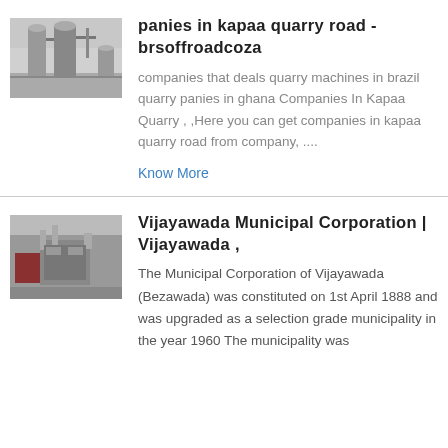[Figure (photo): Black and white photo of industrial quarry machinery/silos]
panies in kapaa quarry road - brsoffroadcoza
companies that deals quarry machines in brazil quarry panies in ghana Companies In Kapaa Quarry , ,Here you can get companies in kapaa quarry road from company, ....
Know More
[Figure (photo): Photo of industrial machinery/equipment in a facility]
Vijayawada Municipal Corporation | Vijayawada ,
The Municipal Corporation of Vijayawada (Bezawada) was constituted on 1st April 1888 and was upgraded as a selection grade municipality in the year 1960 The municipality was